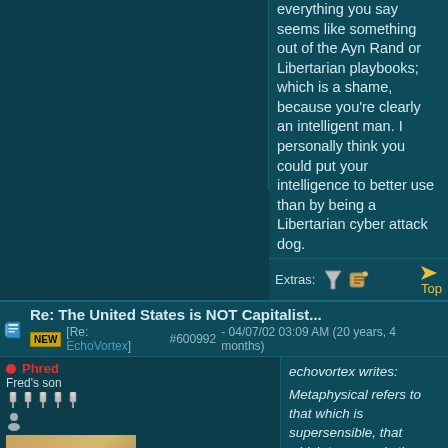everything you say seems like something out of the Ayn Rand or Libertarian playbooks; which is a shame, because you're clearly an intelligent man. I personally think you could put your intelligence to better use than by being a Libertarian cyber attack dog.
Extras: [icons] Top
Re: The United States is NOT Capitalist...
[NEW] [Re: EchoVortex] #600992 - 04/07/02 03:09 AM (20 years, 4 months)
Phred
Fred's son
Registered: 10/19/00
Posts: 12,949
Loc: Dominican Republic
Last seen: 7 years, 7 months
[Figure (photo): User avatar photo showing a hand close-up with yellowish-brown tones]
echovortex writes:

Metaphysical refers to that which is supersensible, that which transcends the mere physical, a world of pure ideas.

Says Kant. Let's see how neutral references sources define metaphysics:

American Heritage Dictionary: The branch of philosophy that examines the nature of reality, including the relationship between mind and